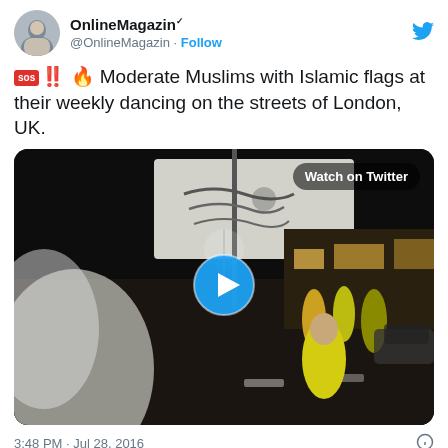[Figure (screenshot): Twitter/X profile avatar showing a person photo in a circular crop]
OnlineMagazin @OnlineMagazin · Follow
🆘‼️🔥 Moderate Muslims with Islamic flags at their weekly dancing on the streets of London, UK.
[Figure (screenshot): Video thumbnail showing a nighttime street scene with people carrying a large white flag with Arabic script, a play button overlay, and a 'Watch on Twitter' button]
3:48 PM · Jul 28, 2016